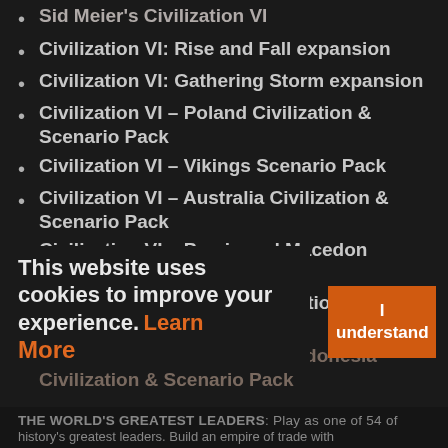Sid Meier's Civilization VI
Civilization VI: Rise and Fall expansion
Civilization VI: Gathering Storm expansion
Civilization VI – Poland Civilization & Scenario Pack
Civilization VI – Vikings Scenario Pack
Civilization VI – Australia Civilization & Scenario Pack
Civilization VI – Persia and Macedon Civilization & Scenario Pack
Civilization VI – Nubia Civilization & Scenario Pack
Civilization VI – Khmer and Indonesia Civilization & Scenario Pack
This website uses cookies to improve your experience. Learn More
I understand
THE WORLD'S GREATEST LEADERS: Play as one of 54 of history's greatest leaders. Build an empire of trade with